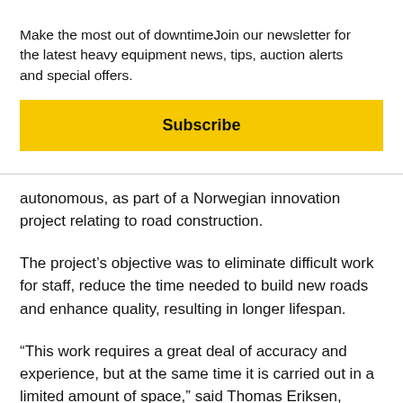Make the most out of downtimeJoin our newsletter for the latest heavy equipment news, tips, auction alerts and special offers.
Subscribe
autonomous, as part of a Norwegian innovation project relating to road construction.
The project’s objective was to eliminate difficult work for staff, reduce the time needed to build new roads and enhance quality, resulting in longer lifespan.
“This work requires a great deal of accuracy and experience, but at the same time it is carried out in a limited amount of space,” said Thomas Eriksen, technical project manager at Semcon in Norway.